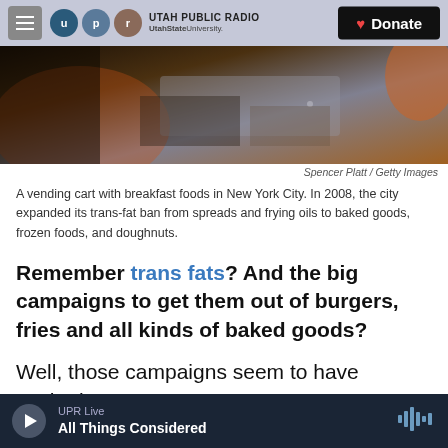UTAH PUBLIC RADIO — UtahStateUniversity. | Donate
[Figure (photo): Close-up photo of a vending cart with breakfast foods, metallic surfaces with food items visible, warm tones.]
Spencer Platt / Getty Images
A vending cart with breakfast foods in New York City. In 2008, the city expanded its trans-fat ban from spreads and frying oils to baked goods, frozen foods, and doughnuts.
Remember trans fats? And the big campaigns to get them out of burgers, fries and all kinds of baked goods?
Well, those campaigns seem to have worked.
UPR Live — All Things Considered